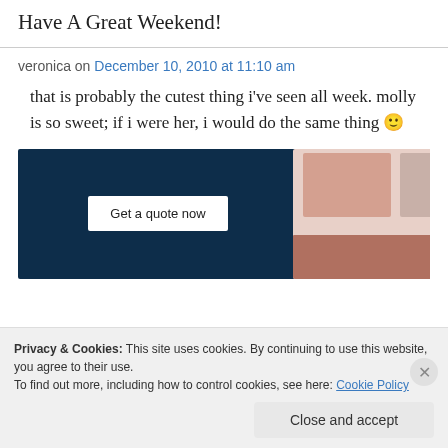Have A Great Weekend!
veronica on December 10, 2010 at 11:10 am
that is probably the cutest thing i've seen all week. molly is so sweet; if i were her, i would do the same thing 🙂
[Figure (screenshot): Advertisement banner with dark navy background showing 'Get a quote now' button on left, and photo collage of babies/children on right]
Privacy & Cookies: This site uses cookies. By continuing to use this website, you agree to their use.
To find out more, including how to control cookies, see here: Cookie Policy
Close and accept